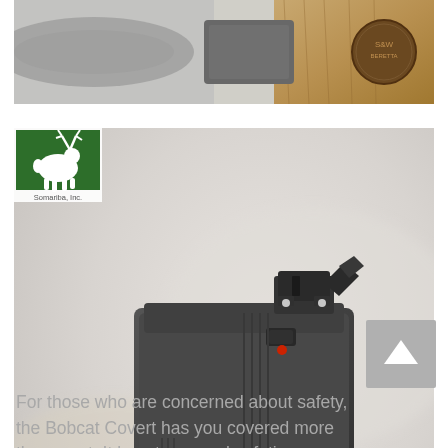[Figure (photo): Partial top crop of a pistol showing grip and metal parts against a wooden surface with a circular logo/medallion]
[Figure (photo): Close-up photo of the rear sight and back end of a semi-automatic pistol (Bobcat Covert) with brown wooden grip and red dot visible, with a green Somariba Inc. logo overlaid in top-left corner]
For those who are concerned about safety, the Bobcat Covert has you covered more than most. It boasts several safeties including a thumb-operated lever on the frame that blocks the sear